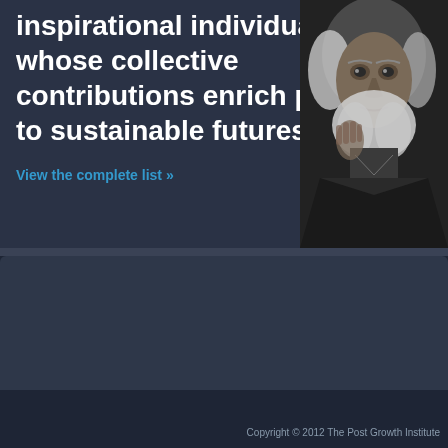inspirational individuals whose collective contributions enrich paths to sustainable futures.
View the complete list »
[Figure (photo): Black and white portrait photograph of an elderly person with white beard, looking thoughtful, dark background]
Copyright © 2012 The Post Growth Institute